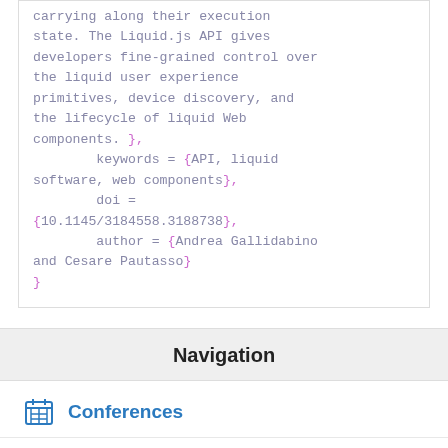carrying along their execution state. The Liquid.js API gives developers fine-grained control over the liquid user experience primitives, device discovery, and the lifecycle of liquid Web components. }, keywords = {API, liquid software, web components}, doi = {10.1145/3184558.3188738}, author = {Andrea Gallidabino and Cesare Pautasso} }
Navigation
Conferences
Education